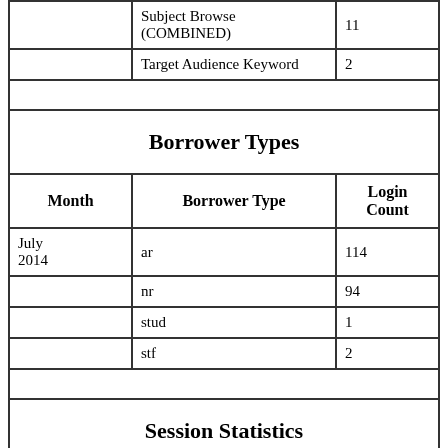|  | Subject Browse (COMBINED) | 11 |
| --- | --- | --- |
|  | Target Audience Keyword | 2 |
| --- | --- | --- |
| Month | Borrower Type | Login Count |
| --- | --- | --- |
| July 2014 | ar | 114 |
|  | nr | 94 |
|  | stud | 1 |
|  | stf | 2 |
Borrower Types
Session Statistics